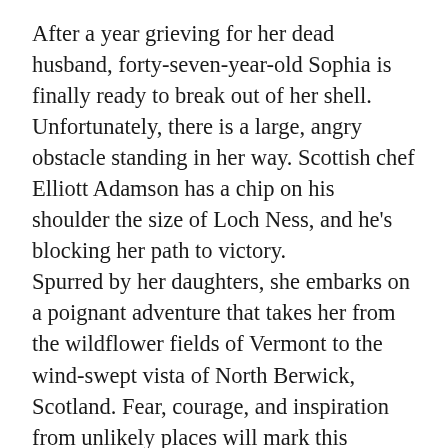After a year grieving for her dead husband, forty-seven-year-old Sophia is finally ready to break out of her shell. Unfortunately, there is a large, angry obstacle standing in her way. Scottish chef Elliott Adamson has a chip on his shoulder the size of Loch Ness, and he's blocking her path to victory.
Spurred by her daughters, she embarks on a poignant adventure that takes her from the wildflower fields of Vermont to the wind-swept vista of North Berwick, Scotland. Fear, courage, and inspiration from unlikely places will mark this journey, and Sophia is determined to persevere until the very end.
A TASTE OF HEAVEN is a 57,000 word short novel that includes a foodie romance, second chance, and a celebration of love in...